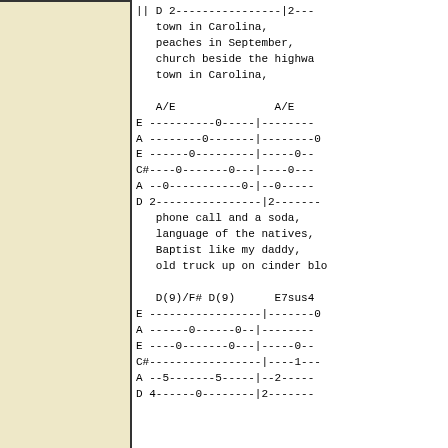[Figure (other): Left sidebar panel with light yellow/cream background and top/right border]
|| D 2----------------|2---
   town in Carolina,
   peaches in September,
   church beside the highwa
   town in Carolina,

   A/E               A/E
E ----------0-----|---------
A --------0-------|---------0
E ------0---------|---------0--
C#----0-------0---|----0----
A --0-----------0-|--0------
D 2----------------|2--------
   phone call and a soda,
   language of the natives,
   Baptist like my daddy,
   old truck up on cinder blo

   D(9)/F# D(9)      E7sus4
E -----------------|--------0
A ------0------0--|----------
E ----0-------0---|------0--
C#------------------|----1----
A --5-------5-----|--2------
D 4------0--------|2-------